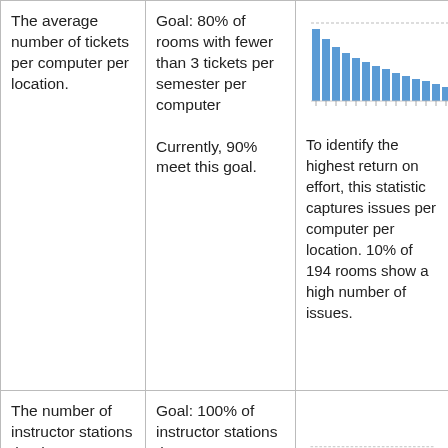The average number of tickets per computer per location.
Goal: 80% of rooms with fewer than 3 tickets per semester per computer

Currently, 90% meet this goal.
[Figure (bar-chart): Bar chart showing tickets per computer per location, bars decreasing in height from left to right, approximately 15 bars total]
To identify the highest return on effort, this statistic captures issues per computer per location. 10% of 194 rooms show a high number of issues.
The number of instructor stations that have more than 100
Goal: 100% of instructor stations that